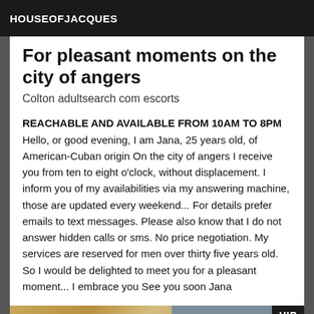HOUSEOFJACQUES
For pleasant moments on the city of angers
Colton adultsearch com escorts
REACHABLE AND AVAILABLE FROM 10AM TO 8PM
Hello, or good evening, I am Jana, 25 years old, of American-Cuban origin On the city of angers I receive you from ten to eight o'clock, without displacement. I inform you of my availabilities via my answering machine, those are updated every weekend... For details prefer emails to text messages. Please also know that I do not answer hidden calls or sms. No price negotiation. My services are reserved for men over thirty five years old. So I would be delighted to meet you for a pleasant moment... I embrace you See you soon Jana
[Figure (photo): Bottom portion showing two images side by side: left is a sandy/earthy texture, right is a blue-grey surface with a VIP badge in the top-right corner]